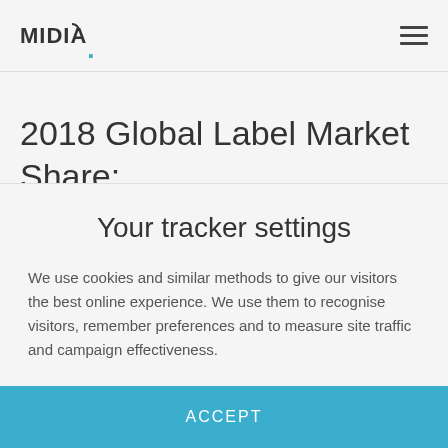MIDIA.
2018 Global Label Market Share: Stream Engine
Your tracker settings
We use cookies and similar methods to give our visitors the best online experience. We use them to recognise visitors, remember preferences and to measure site traffic and campaign effectiveness.
ACCEPT